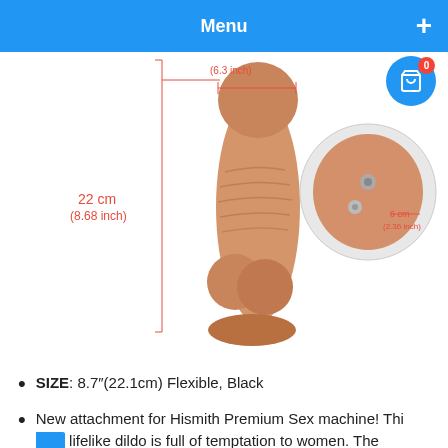Menu
[Figure (photo): Product photo of a realistic dildo with measurement annotations showing 22cm (8.68 inch) height, 4.2cm (1.65 inch) width, and a side view showing 6cm (2.36 inch) base diameter with screw attachment. Red dimension lines mark the measurements.]
SIZE: 8.7"(22.1cm) Flexible, Black
New attachment for Hismith Premium Sex machine! This lifelike dildo is full of temptation to women. The spherical glans penis can touch women's most sensitive area, let them get off, the realistic color of skin is enough to hook up women